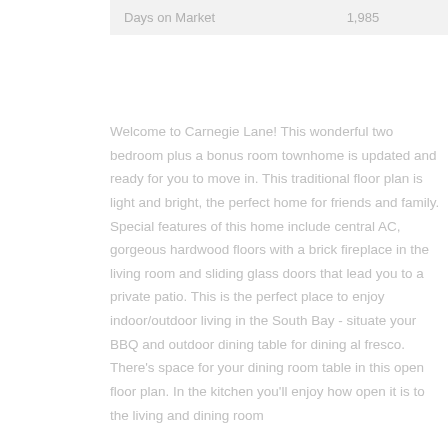| Days on Market | 1,985 |
Welcome to Carnegie Lane! This wonderful two bedroom plus a bonus room townhome is updated and ready for you to move in. This traditional floor plan is light and bright, the perfect home for friends and family. Special features of this home include central AC, gorgeous hardwood floors with a brick fireplace in the living room and sliding glass doors that lead you to a private patio. This is the perfect place to enjoy indoor/outdoor living in the South Bay - situate your BBQ and outdoor dining table for dining al fresco. There's space for your dining room table in this open floor plan. In the kitchen you'll enjoy how open it is to the living and dining room